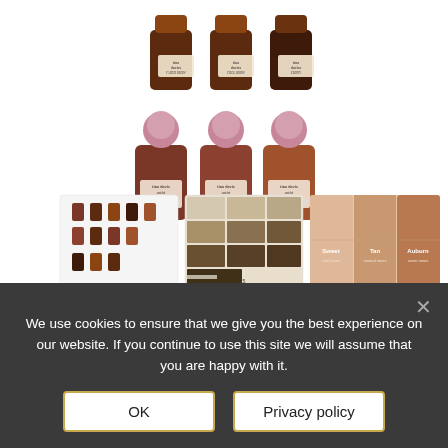[Figure (photo): Product images of Tina Davies eyebrow pigment bottles arranged in two rows of three (dark brown glass bottles, top row), plus three larger bottles with pink/mauve caps (middle row), and three smaller thumbnail images at bottom left including group shot of all bottles, a color swatch chart with taupe/brown shades, and a color guide showing three skin-tone swatches labeled Sweet, Tan, Auburn.]
Tina Davies Single Eyebrow
We use cookies to ensure that we give you the best experience on our website. If you continue to use this site we will assume that you are happy with it.